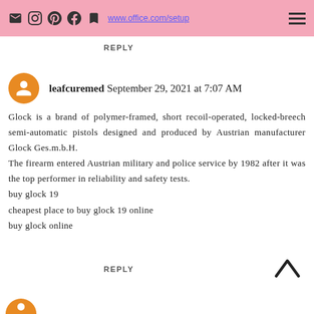www.office.com/setup
REPLY
leafcuremed September 29, 2021 at 7:07 AM
Glock is a brand of polymer-framed, short recoil-operated, locked-breech semi-automatic pistols designed and produced by Austrian manufacturer Glock Ges.m.b.H.
The firearm entered Austrian military and police service by 1982 after it was the top performer in reliability and safety tests.
buy glock 19
cheapest place to buy glock 19 online
buy glock online
REPLY